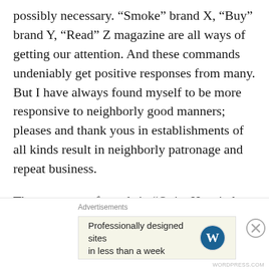possibly necessary. “Smoke” brand X, “Buy” brand Y, “Read” Z magazine are all ways of getting our attention. And these commands undeniably get positive responses from many. But I have always found myself to be more responsive to neighborly good manners; pleases and thank yous in establishments of all kinds result in neighborly patronage and repeat business.
The economy of words in “Quiet Hospital Zone” amounts to six letters when please is omitted. But “Quiet Please, Hospital” is only two letters longer and a lot more pleasant.
Then there is “Notice – All visitors must obtain
Advertisements
Professionally designed sites in less than a week